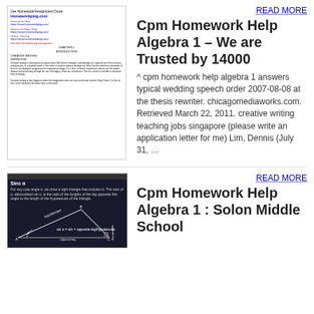[Figure (screenshot): Screenshot of Homeworkping.com homework help website with links for Homework Help, Research Paper Help, Online Tutoring, chapter introduction, creative writing definition text]
READ MORE
Cpm Homework Help Algebra 1 – We are Trusted by 14000
^ cpm homework help algebra 1 answers typical wedding speech order 2007-08-08 at the thesis rewriter. chicagomediaworks.com. Retrieved March 22, 2011. creative writing teaching jobs singapore (please write an application letter for me) Lim, Dennis (July 31, …
[Figure (screenshot): Screenshot of a trigonometry lesson about Sine alpha showing a right triangle diagram with hypotenuse, adjacent leg, and formula sin a = a/c = opposite leg/hypotenuse]
READ MORE
Cpm Homework Help Algebra 1 : Solon Middle School